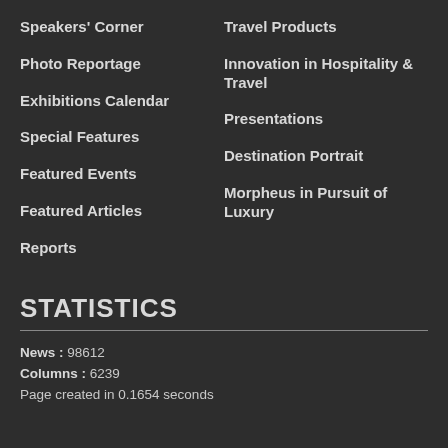Speakers' Corner
Travel Products
Photo Reportage
Innovation in Hospitality & Travel
Exhibitions Calendar
Presentations
Special Features
Destination Portrait
Featured Events
Morpheus in Pursuit of Luxury
Featured Articles
Reports
STATISTICS
News : 98612
Columns : 6239
Page created in 0.1654 seconds